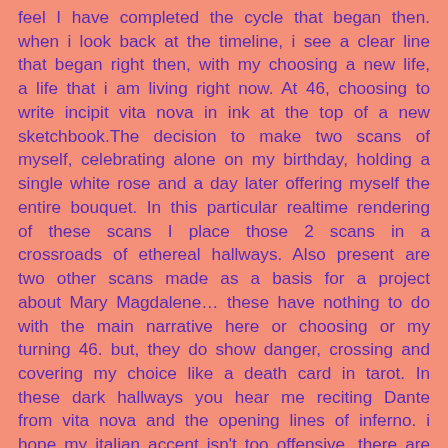feel I have completed the cycle that began then. when i look back at the timeline, i see a clear line that began right then, with my choosing a new life, a life that i am living right now. At 46, choosing to write incipit vita nova in ink at the top of a new sketchbook.The decision to make two scans of myself, celebrating alone on my birthday, holding a single white rose and a day later offering myself the entire bouquet. In this particular realtime rendering of these scans I place those 2 scans in a crossroads of ethereal hallways. Also present are two other scans made as a basis for a project about Mary Magdalene… these have nothing to do with the main narrative here or choosing or my turning 46. but, they do show danger, crossing and covering my choice like a death card in tarot. In these dark hallways you hear me reciting Dante from vita nova and the opening lines of inferno. i hope my italian accent isn't too offensive. there are also a few lines from the sketchbook of that same birthday.